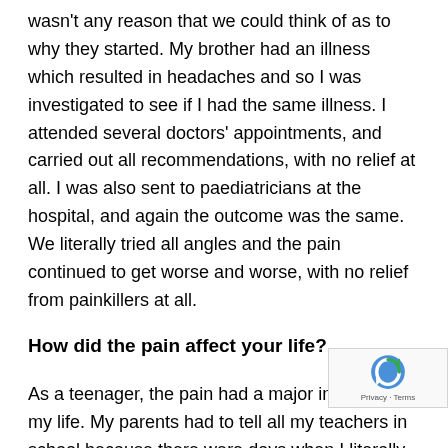wasn't any reason that we could think of as to why they started. My brother had an illness which resulted in headaches and so I was investigated to see if I had the same illness. I attended several doctors' appointments, and carried out all recommendations, with no relief at all. I was also sent to paediatricians at the hospital, and again the outcome was the same. We literally tried all angles and the pain continued to get worse and worse, with no relief from painkillers at all.
How did the pain affect your life?
As a teenager, the pain had a major impact on my life. My parents had to tell all my teachers in school because there were days when I literally couldn't concentrate at all because the pain was so bad. It was horrible going out with fr… family because I would be miserable the entire time. … greatly affected my school and social life. Those everyday